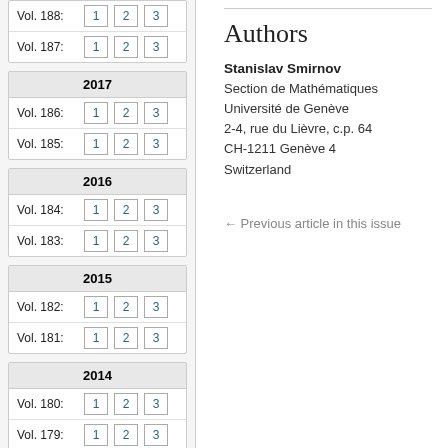| Volume | 1 | 2 | 3 |
| --- | --- | --- | --- |
| Vol. 188: | 1 | 2 | 3 |
| Vol. 187: | 1 | 2 | 3 |
| 2017 |
| --- |
| Vol. 186: | 1 | 2 | 3 |
| Vol. 185: | 1 | 2 | 3 |
| 2016 |
| --- |
| Vol. 184: | 1 | 2 | 3 |
| Vol. 183: | 1 | 2 | 3 |
| 2015 |
| --- |
| Vol. 182: | 1 | 2 | 3 |
| Vol. 181: | 1 | 2 | 3 |
| 2014 |
| --- |
| Vol. 180: | 1 | 2 | 3 |
| Vol. 179: | 1 | 2 | 3 |
| 2013 |
| --- |
Authors
Stanislav Smirnov
Section de Mathématiques
Université de Genève
2-4, rue du Lièvre, c.p. 64
CH-1211 Genève 4
Switzerland
← Previous article in this issue